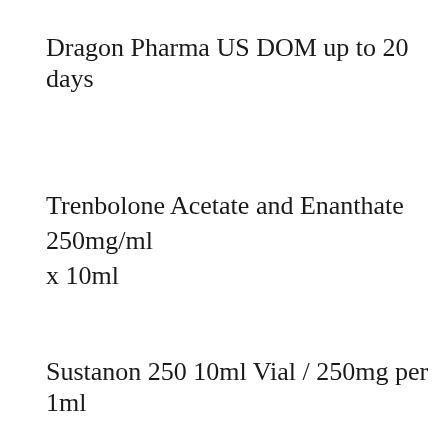Dragon Pharma US DOM up to 20 days
Trenbolone Acetate and Enanthate 250mg/ml x 10ml
Sustanon 250 10ml Vial / 250mg per 1ml